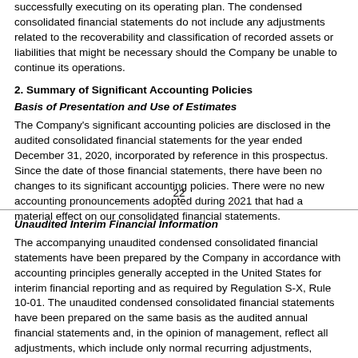successfully executing on its operating plan. The condensed consolidated financial statements do not include any adjustments related to the recoverability and classification of recorded assets or liabilities that might be necessary should the Company be unable to continue its operations.
2. Summary of Significant Accounting Policies
Basis of Presentation and Use of Estimates
The Company's significant accounting policies are disclosed in the audited consolidated financial statements for the year ended December 31, 2020, incorporated by reference in this prospectus. Since the date of those financial statements, there have been no changes to its significant accounting policies. There were no new accounting pronouncements adopted during 2021 that had a material effect on our consolidated financial statements.
22
Unaudited Interim Financial Information
The accompanying unaudited condensed consolidated financial statements have been prepared by the Company in accordance with accounting principles generally accepted in the United States for interim financial reporting and as required by Regulation S-X, Rule 10-01. The unaudited condensed consolidated financial statements have been prepared on the same basis as the audited annual financial statements and, in the opinion of management, reflect all adjustments, which include only normal recurring adjustments, necessary for a fair statement of the Company's financial position as of June 30, 2021, and the results of its